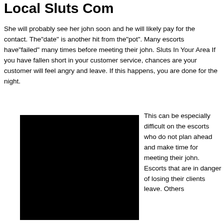Local Sluts Com
She will probably see her john soon and he will likely pay for the contact. The"date" is another hit from the"pot". Many escorts have"failed" many times before meeting their john. Sluts In Your Area If you have fallen short in your customer service, chances are your customer will feel angry and leave. If this happens, you are done for the night.
[Figure (photo): A solid black rectangular image]
This can be especially difficult on the escorts who do not plan ahead and make time for meeting their john. Escorts that are in danger of losing their clients leave. Others